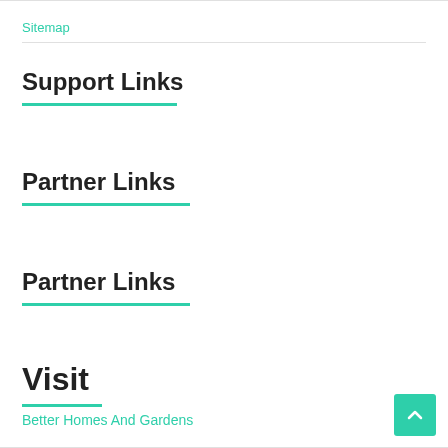Sitemap
Support Links
Partner Links
Partner Links
Visit
Better Homes And Gardens